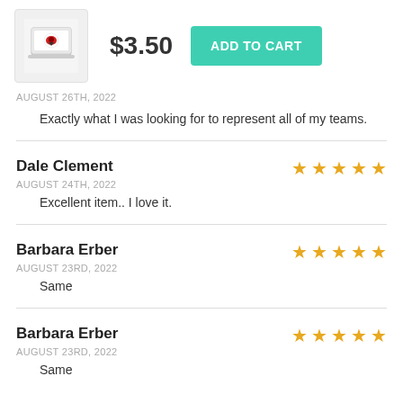[Figure (photo): Product thumbnail image showing a sticker on a laptop, with a red and black design]
$3.50
ADD TO CART
AUGUST 26TH, 2022
Exactly what I was looking for to represent all of my teams.
Dale Clement
AUGUST 24TH, 2022
Excellent item.. I love it.
Barbara Erber
AUGUST 23RD, 2022
Same
Barbara Erber
AUGUST 23RD, 2022
Same